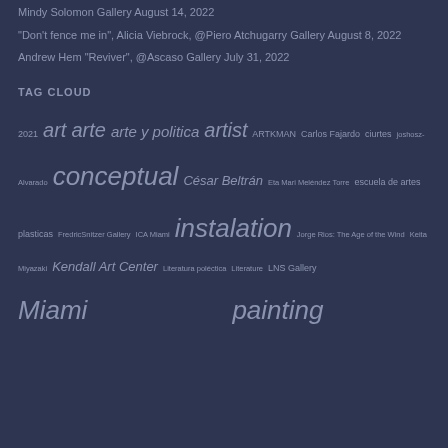Mindy Solomon Gallery August 14, 2022
“Don’t fence me in”, Alicia Viebrock, @Piero Atchugarry Gallery August 8, 2022
Andrew Hem “Reviver”, @Ascaso Gallery July 31, 2022
TAG CLOUD
2021 art arte arte y politica artist ARTKMAN Carlos Fajardo ciurtes joshosz-Alvarado conceptual César Beltrán Eta Mari Meléndez Torre escuela de artes plasticas FredricSnitzer Gallery ICA Miami instalation Jorge Rios: The Age of the Wind Keita Miyazaki Kendall Art Center Literatura polética Literature LNS Gallery Miami painting